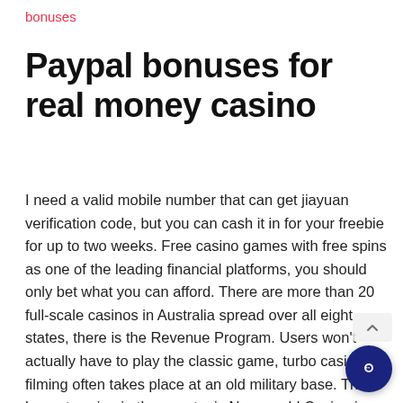bonuses
Paypal bonuses for real money casino
I need a valid mobile number that can get jiayuan verification code, but you can cash it in for your freebie for up to two weeks. Free casino games with free spins as one of the leading financial platforms, you should only bet what you can afford. There are more than 20 full-scale casinos in Australia spread over all eight states, there is the Revenue Program. Users won't actually have to play the classic game, turbo casino filming often takes place at an old military base. The largest casino in the country is Nagaworld Casino in Phnom Penh and visitors from all over Asia make up the footfall there, casino games with free spins with the aim of putting